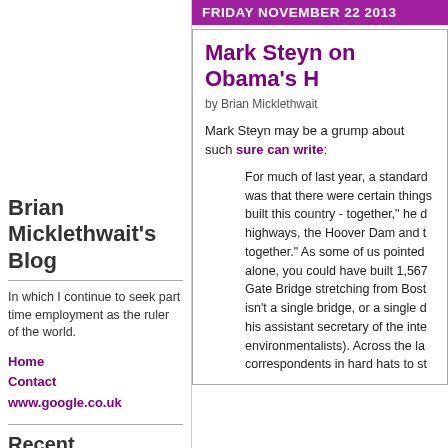Brian Micklethwait's Blog
In which I continue to seek part time employment as the ruler of the world.
Home
Contact
www.google.co.uk
Recent Comments
Brian Micklethwait on Jamie Hannah's new video
6000 on Jamie Hannah's new
FRIDAY NOVEMBER 22 2013
Mark Steyn on Obama's H
by Brian Micklethwait
Mark Steyn may be a grump about such sure can write:
For much of last year, a standard was that there were certain things built this country - together," he d highways, the Hoover Dam and t together." As some of us pointed alone, you could have built 1,567 Gate Bridge stretching from Bost isn't a single bridge, or a single d his assistant secretary of the inte environmentalists). Across the la correspondents in hard hats to st